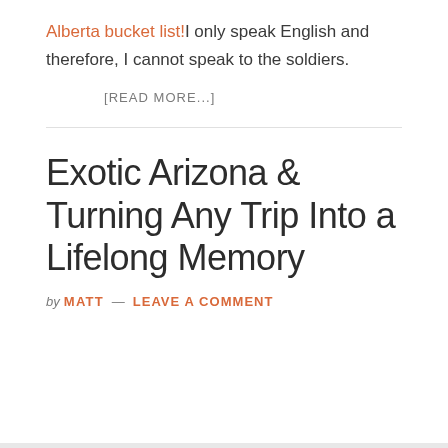Alberta bucket list! I only speak English and therefore, I cannot speak to the soldiers.
[READ MORE...]
Exotic Arizona & Turning Any Trip Into a Lifelong Memory
by MATT — LEAVE A COMMENT